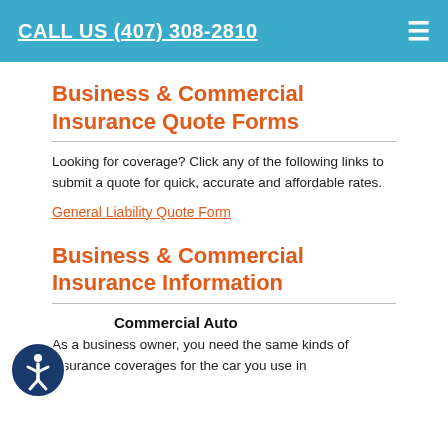CALL US (407) 308-2810
Business & Commercial Insurance Quote Forms
Looking for coverage? Click any of the following links to submit a quote for quick, accurate and affordable rates.
General Liability Quote Form
Business & Commercial Insurance Information
Commercial Auto
As a business owner, you need the same kinds of insurance coverages for the car you use in